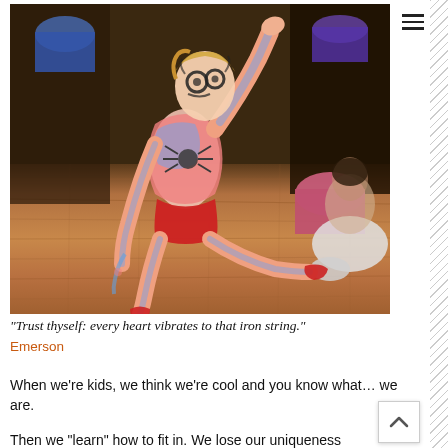[Figure (photo): A child with body paint in red, white and blue spider-man style design, posing dynamically on a wooden floor. The child has face paint with large eyes and is wearing a red swimsuit/shorts. Body is painted with a spider design on the torso and swirling patterns on arms and legs. Another person is visible in the background, also painted. The setting appears to be indoors with a dark wooden floor and background items visible.]
“Trust thyself: every heart vibrates to that iron string.”
Emerson
When we’re kids, we think we’re cool and you know what… we are.
Then we “learn” how to fit in. We lose our uniqueness